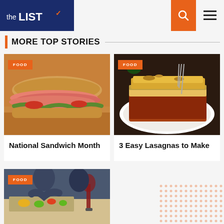[Figure (logo): theLIST logo - dark blue background with white text 'the LIST' and orange checkmark]
MORE TOP STORIES
[Figure (photo): Close-up photo of a deli sandwich with ham and lettuce on a wooden cutting board, with orange FOOD badge overlay]
National Sandwich Month
[Figure (photo): Photo of lasagna on a white plate being served with a fork, with orange FOOD badge overlay]
3 Easy Lasagnas to Make
[Figure (photo): Photo of two people cooking/chopping vegetables in a kitchen with a glass of red wine, with orange FOOD badge overlay]